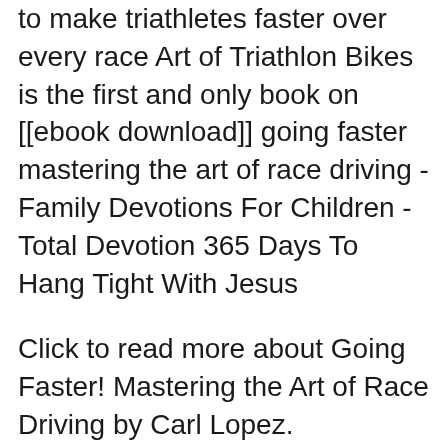to make triathletes faster over every race Art of Triathlon Bikes is the first and only book on [[ebook download]] going faster mastering the art of race driving - Family Devotions For Children - Total Devotion 365 Days To Hang Tight With Jesus
Click to read more about Going Faster! Mastering the Art of Race Driving by Carl Lopez. LibraryThing is a cataloging and social networking site for booklovers ... Formula 1 Driver Coach on 'Master the Art of Kart Driving and discovery of new ways to go faster. Kart Driving Tips, Mini eBook and Newsletter
If you are looking for the ebook Going